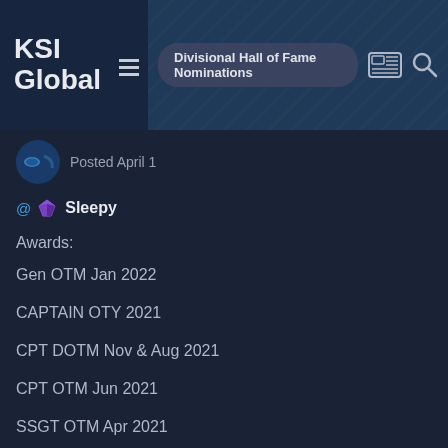KSI Global | Divisional Hall of Fame Nominations
Posted April 1
@Sleepy
Awards:
Gen OTM Jan 2022
CAPTAIN OTY 2021
CPT DOTM Nov & Aug 2021
CPT OTM Jun 2021
SSGT OTM Apr 2021
Outstanding Service Level 1
Squad Splitter
Squad Builder